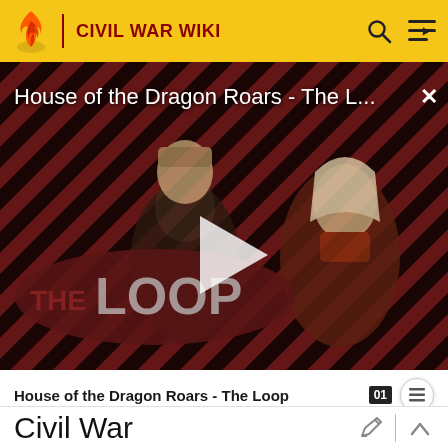CIVIL WAR WIKI
[Figure (screenshot): Video thumbnail for 'House of the Dragon Roars - The L...' showing two characters from House of the Dragon against a diagonal red and black striped background with The Loop logo overlay and a play button in the center]
House of the Dragon Roars - The Loop
Civil War